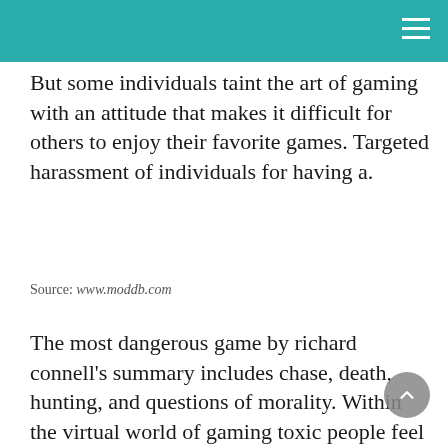But some individuals taint the art of gaming with an attitude that makes it difficult for others to enjoy their favorite games. Targeted harassment of individuals for having a.
Source: www.moddb.com
The most dangerous game by richard connell's summary includes chase, death, hunting, and questions of morality. Within the virtual world of gaming toxic people feel safe to be their true bigoted, sexist, angry selves.